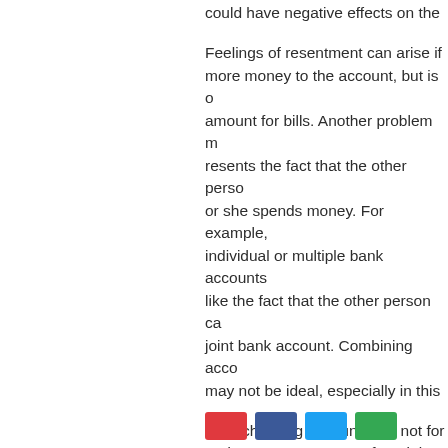could have negative effects on the
Feelings of resentment can arise if more money to the account, but is amount for bills. Another problem resents the fact that the other perso or she spends money. For example individual or multiple bank accounts like the fact that the other person c joint bank account. Combining acco may not be ideal, especially in this
Joint checking accounts are not for and trust are necessary for a joint a There are many advantages and di checking accounts. Weighing whet open a joint checking account is ad such an endeavor.